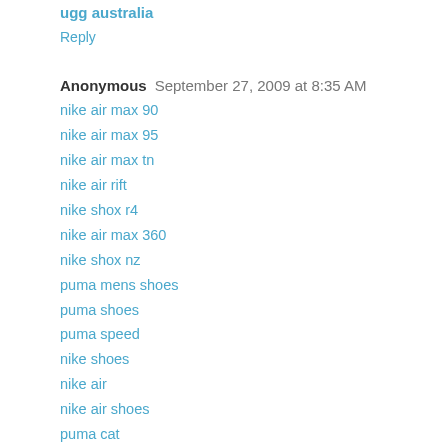ugg australia
Reply
Anonymous  September 27, 2009 at 8:35 AM
nike air max 90
nike air max 95
nike air max tn
nike air rift
nike shox r4
nike air max 360
nike shox nz
puma mens shoes
puma shoes
puma speed
nike shoes
nike air
nike air shoes
puma cat
air max trainers
mens nike air max